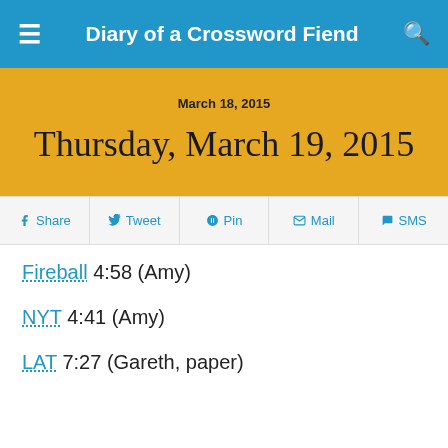Diary of a Crossword Fiend
March 18, 2015
Thursday, March 19, 2015
Share | Tweet | Pin | Mail | SMS
Fireball 4:58 (Amy)
NYT 4:41 (Amy)
LAT 7:27 (Gareth, paper)